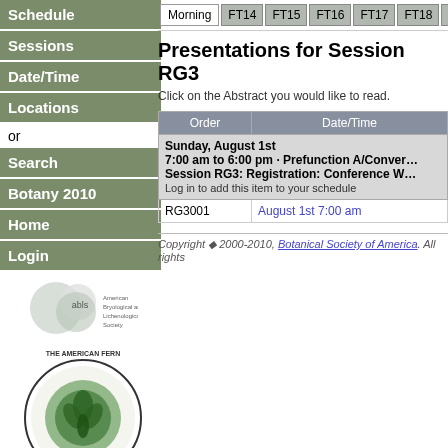Schedule
Sessions
Date/Time
Locations
or
Search
Botany 2010
Home
Login
[Figure (logo): American Bryological and Lichenological Society logo with overlapping circles]
[Figure (logo): The American Fern Society circular logo with fern illustration]
[Figure (logo): ASPT logo with plant illustration]
[Figure (logo): Three small botanical society logos at bottom]
Morning  FT14  FT15  FT16  FT17  FT18  M30
Presentations for Session RG3
Click on the Abstract you would like to read.
| Order | Date/Time |
| --- | --- |
| Sunday, August 1st
7:00 am to 6:00 pm · Prefunction A/Conver…
Session RG3: Registration: Conference W…
Log in to add this item to your schedule |  |
| RG3001 | August 1st 7:00 am |
Copyright © 2000-2010, Botanical Society of America. All rights